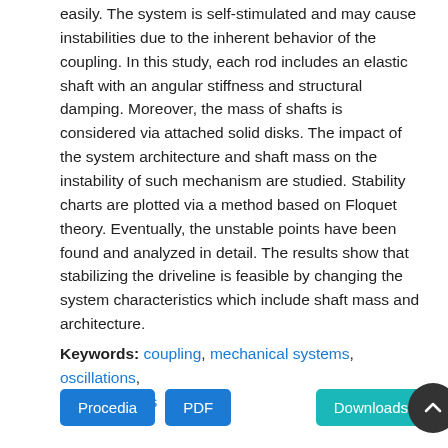easily. The system is self-stimulated and may cause instabilities due to the inherent behavior of the coupling. In this study, each rod includes an elastic shaft with an angular stiffness and structural damping. Moreover, the mass of shafts is considered via attached solid disks. The impact of the system architecture and shaft mass on the instability of such mechanism are studied. Stability charts are plotted via a method based on Floquet theory. Eventually, the unstable points have been found and analyzed in detail. The results show that stabilizing the driveline is feasible by changing the system characteristics which include shaft mass and architecture.
Keywords: coupling, mechanical systems, oscillations, rotating shafts
[Figure (other): Three buttons: 'Procedia' (blue), 'PDF' (blue), 'Downloads' (teal), and a dark circular scroll-to-top arrow button on the right.]